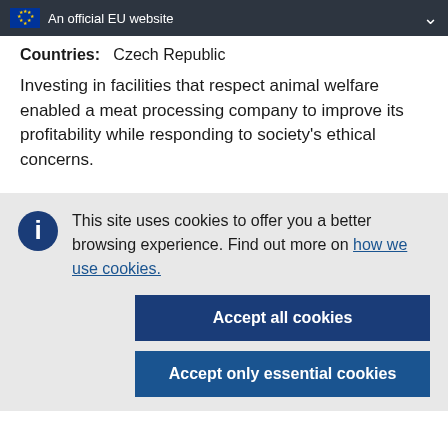An official EU website
Countries:   Czech Republic
Investing in facilities that respect animal welfare enabled a meat processing company to improve its profitability while responding to society's ethical concerns.
This site uses cookies to offer you a better browsing experience. Find out more on how we use cookies.
Accept all cookies
Accept only essential cookies